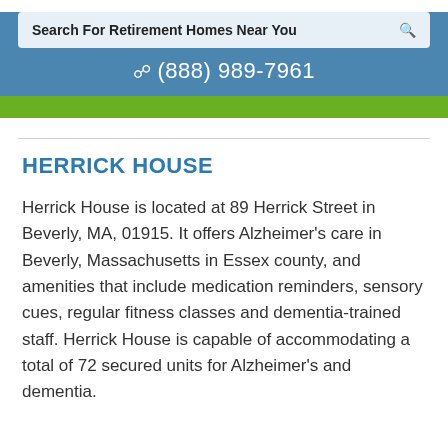Search For Retirement Homes Near You | (888) 989-7961
HERRICK HOUSE
Herrick House is located at 89 Herrick Street in Beverly, MA, 01915. It offers Alzheimer's care in Beverly, Massachusetts in Essex county, and amenities that include medication reminders, sensory cues, regular fitness classes and dementia-trained staff. Herrick House is capable of accommodating a total of 72 secured units for Alzheimer's and dementia.